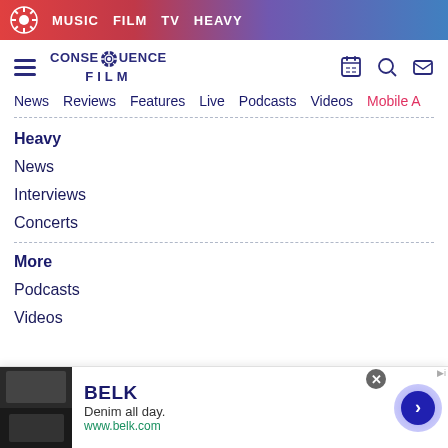MUSIC FILM TV HEAVY
[Figure (logo): Consequence Film logo with gear icon]
News  Reviews  Features  Live  Podcasts  Videos  Mobile A
Heavy
News
Interviews
Concerts
More
Podcasts
Videos
[Figure (screenshot): BELK advertisement banner: Denim all day. www.belk.com]